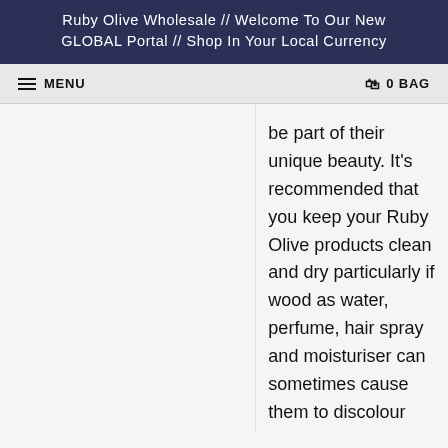Ruby Olive Wholesale // Welcome To Our New GLOBAL Portal // Shop In Your Local Currency
MENU  0 BAG
be part of their unique beauty. It's recommended that you keep your Ruby Olive products clean and dry particularly if wood as water, perfume, hair spray and moisturiser can sometimes cause them to discolour and rub off onto other fabrics. To